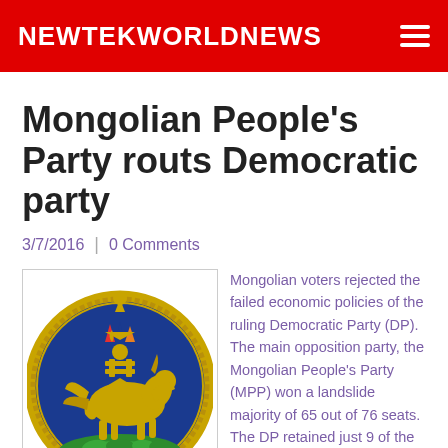NEWTEKWORLDNEWS
Mongolian People's Party routs Democratic party
3/7/2016  |  0 Comments
[Figure (illustration): Mongolian national emblem: a circular golden soyombo symbol on blue background with traditional ornamental border, featuring the horse, soyombo flame symbol, and lotus base on green waves.]
Mongolian voters rejected the failed economic policies of the ruling Democratic Party (DP). The main opposition party, the Mongolian People's Party (MPP) won a landslide majority of 65 out of 76 seats. The DP retained just 9 of the remaining seats with other parties winning two. The former prime minister lost his own seat. One seat went to the Mongolian People's